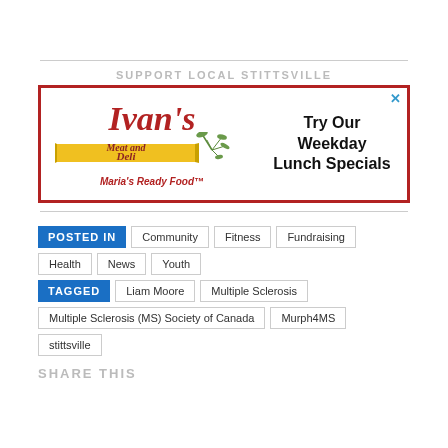SUPPORT LOCAL STITTSVILLE
[Figure (advertisement): Ivan's Meat and Deli advertisement with yellow banner, Maria's Ready Food branding, and text 'Try Our Weekday Lunch Specials']
POSTED IN  Community  Fitness  Fundraising  Health  News  Youth
TAGGED  Liam Moore  Multiple Sclerosis  Multiple Sclerosis (MS) Society of Canada  Murph4MS  stittsville
SHARE THIS